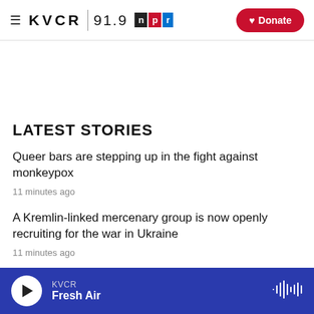KVCR 91.9 npr — Donate
LATEST STORIES
Queer bars are stepping up in the fight against monkeypox
11 minutes ago
A Kremlin-linked mercenary group is now openly recruiting for the war in Ukraine
11 minutes ago
KVCR Fresh Air